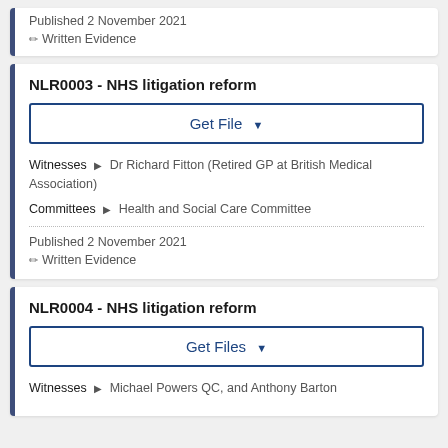Published 2 November 2021
Written Evidence
NLR0003 - NHS litigation reform
Get File
Witnesses ▶ Dr Richard Fitton (Retired GP at British Medical Association)
Committees ▶ Health and Social Care Committee
Published 2 November 2021
Written Evidence
NLR0004 - NHS litigation reform
Get Files
Witnesses ▶ Michael Powers QC, and Anthony Barton